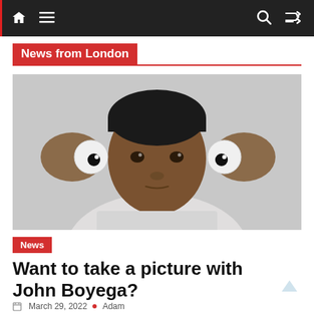Navigation bar with home, menu, search, and shuffle icons
News from London
[Figure (photo): A young Black man holds two large novelty googly eyeballs up beside his eyes against a white background, wearing a light grey t-shirt.]
News
Want to take a picture with John Boyega?
March 29, 2022  •  Adam